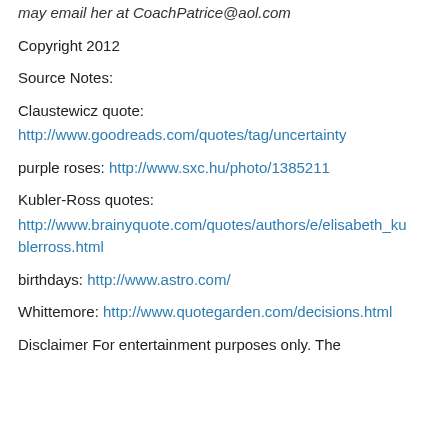may email her at CoachPatrice@aol.com
Copyright 2012
Source Notes:
Claustewicz quote:
http://www.goodreads.com/quotes/tag/uncertainty
purple roses: http://www.sxc.hu/photo/1385211
Kubler-Ross quotes:
http://www.brainyquote.com/quotes/authors/e/elisabeth_kublerross.html
birthdays: http://www.astro.com/
Whittemore: http://www.quotegarden.com/decisions.html
Disclaimer For entertainment purposes only. The